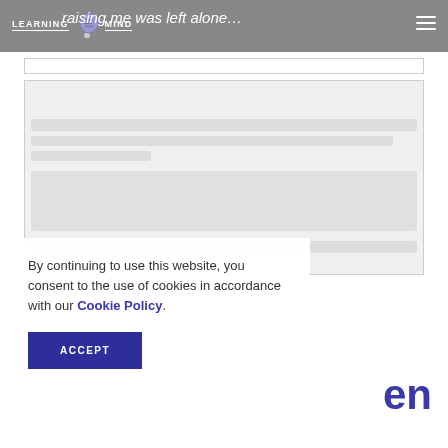Learning Mind — raising me was left alone…
[Figure (screenshot): Learning Mind website header with logo (brain icon) and hamburger menu, gray background, with article title text 'raising me was left alone...' overlaid]
[Figure (screenshot): Website content area placeholder box with light gray background and inner placeholder blocks]
By continuing to use this website, you consent to the use of cookies in accordance with our Cookie Policy.
ACCEPT
en